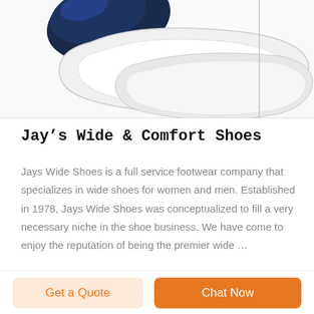[Figure (photo): Partial view of navy blue and white shoes or shoe insoles on a white background, with a vertical divider line on the right side]
Jay's Wide & Comfort Shoes
Jays Wide Shoes is a full service footwear company that specializes in wide shoes for women and men. Established in 1978, Jays Wide Shoes was conceptualized to fill a very necessary niche in the shoe business. We have come to enjoy the reputation of being the premier wide ...
Get a Quote
Chat Now